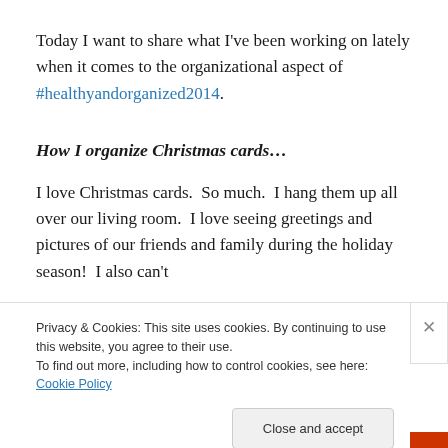Today I want to share what I've been working on lately when it comes to the organizational aspect of #healthyandorganized2014.
How I organize Christmas cards…
I love Christmas cards.  So much.  I hang them up all over our living room.  I love seeing greetings and pictures of our friends and family during the holiday season!  I also can't
Privacy & Cookies: This site uses cookies. By continuing to use this website, you agree to their use.
To find out more, including how to control cookies, see here: Cookie Policy
Close and accept